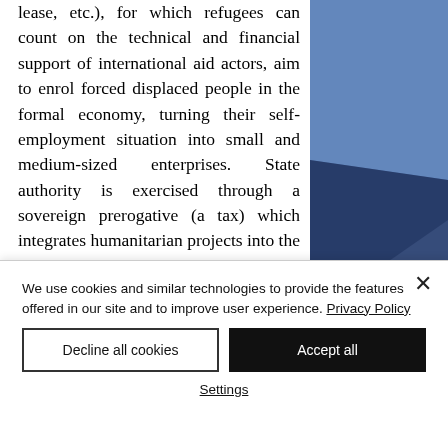lease, etc.), for which refugees can count on the technical and financial support of international aid actors, aim to enrol forced displaced people in the formal economy, turning their self-employment situation into small and medium-sized enterprises. State authority is exercised through a sovereign prerogative (a tax) which integrates humanitarian projects into the national development strategy and into the local economic
[Figure (illustration): Blue geometric graphic in the top-right corner of the page, consisting of overlapping dark blue and medium blue shapes.]
We use cookies and similar technologies to provide the features offered in our site and to improve user experience. Privacy Policy
Decline all cookies
Accept all
Settings